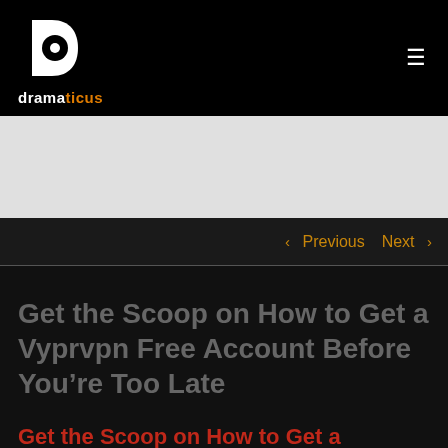dramaticus
[Figure (logo): Dramaticus logo — white circular D-shaped icon with an eye/circle cutout, above the text 'dramaticus' with 'drama' in white and 'ticus' in orange]
< Previous  Next >
Get the Scoop on How to Get a Vyprvpn Free Account Before You're Too Late
Get the Scoop on How to Get a Vyprvpn Free Account Before You're Too Late